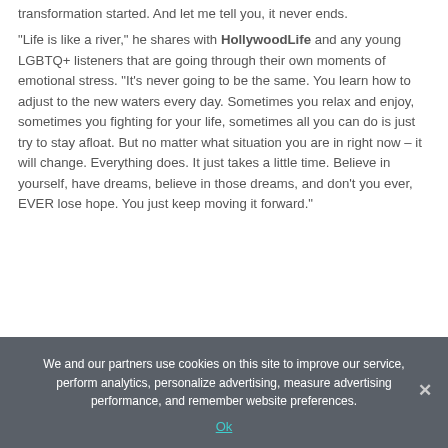transformation started. And let me tell you, it never ends.
"Life is like a river," he shares with HollywoodLife and any young LGBTQ+ listeners that are going through their own moments of emotional stress. "It's never going to be the same. You learn how to adjust to the new waters every day. Sometimes you relax and enjoy, sometimes you fighting for your life, sometimes all you can do is just try to stay afloat. But no matter what situation you are in right now – it will change. Everything does. It just takes a little time. Believe in yourself, have dreams, believe in those dreams, and don't you ever, EVER lose hope. You just keep moving it forward."
We and our partners use cookies on this site to improve our service, perform analytics, personalize advertising, measure advertising performance, and remember website preferences.
Ok